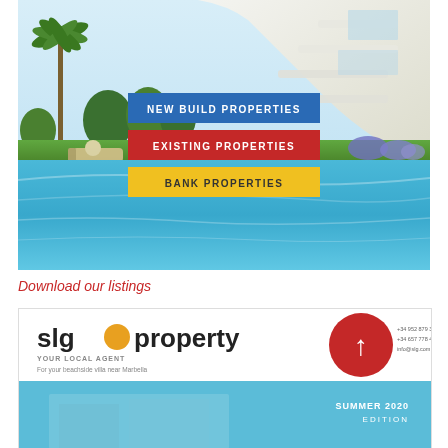[Figure (photo): Luxury property with modern white curved building, palm trees, garden, sun loungers, and a large swimming pool in the foreground. Three colored buttons overlaid: New Build Properties (blue), Existing Properties (red), Bank Properties (yellow).]
Download our listings
[Figure (photo): SLG Property logo banner showing 'slg property - YOUR LOCAL AGENT - For your beachside villa near Marbella' with a red circle arrow-up icon and SUMMER 2020 EDITION text at bottom right. Bottom half shows a blue sky with white building.]